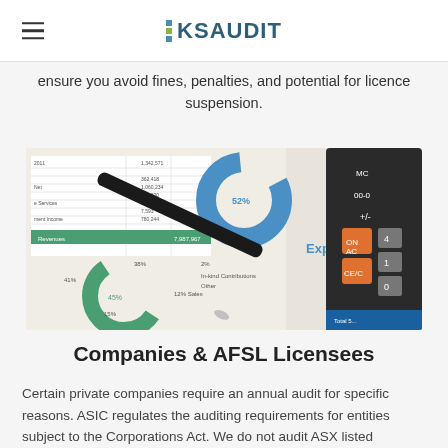KSAUDIT
ensure you avoid fines, penalties, and potential for licence suspension.
[Figure (photo): Photo of financial documents with pie charts and a spreadsheet, a black pen resting on papers, and a dark calculator with orange buttons on the right side. Text 'Expenses' visible on a document.]
Companies & AFSL Licensees
Certain private companies require an annual audit for specific reasons. ASIC regulates the auditing requirements for entities subject to the Corporations Act. We do not audit ASX listed